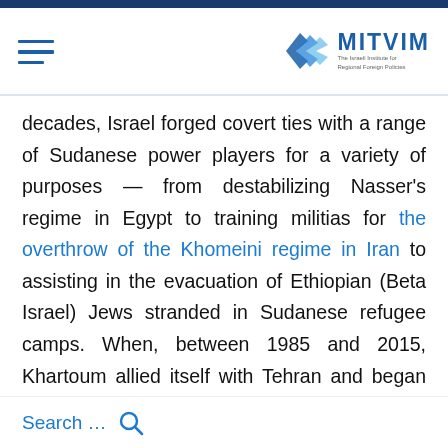MITVIM — The Israeli Institute for Regional Foreign Policies
decades, Israel forged covert ties with a range of Sudanese power players for a variety of purposes — from destabilizing Nasser's regime in Egypt to training militias for the overthrow of the Khomeini regime in Iran to assisting in the evacuation of Ethiopian (Beta Israel) Jews stranded in Sudanese refugee camps. When, between 1985 and 2015, Khartoum allied itself with Tehran and began serving as a conduit for smuggled Iranian munitions to Palestinian militants, especially [in the] Hamas-ruled Gaza Strip, Israel staged